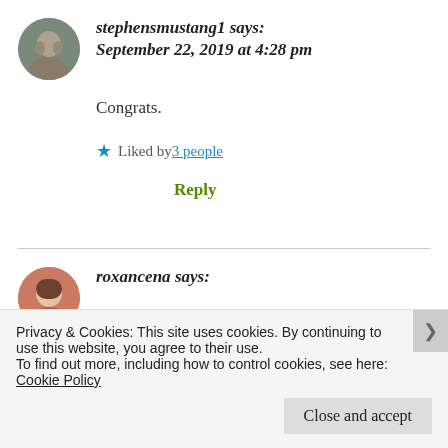stephensmustang1 says:
September 22, 2019 at 4:28 pm
Congrats.
★ Liked by 3 people
Reply
roxancena says:
Privacy & Cookies: This site uses cookies. By continuing to use this website, you agree to their use.
To find out more, including how to control cookies, see here: Cookie Policy
Close and accept